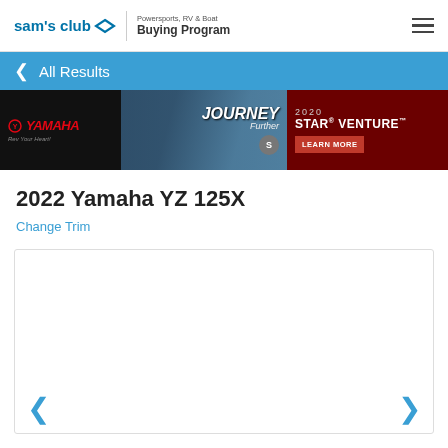sam's club | Powersports, RV & Boat Buying Program
< All Results
[Figure (photo): Yamaha banner advertisement showing motorcycles on a road with text 'JOURNEY Further', '2020 STAR VENTURE' and a 'LEARN MORE' button]
2022 Yamaha YZ 125X
Change Trim
[Figure (photo): Product image area with left and right navigation arrows for the 2022 Yamaha YZ 125X]